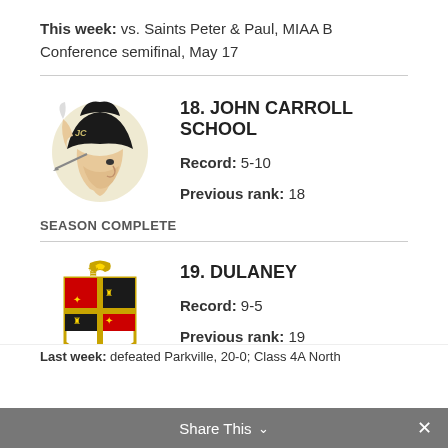This week: vs. Saints Peter & Paul, MIAA B Conference semifinal, May 17
18. JOHN CARROLL SCHOOL
Record: 5-10
Previous rank: 18
SEASON COMPLETE
19. DULANEY
Record: 9-5
Previous rank: 19
Last week: defeated Parkville, 20-0; Class 4A North
Share This ✓  ×